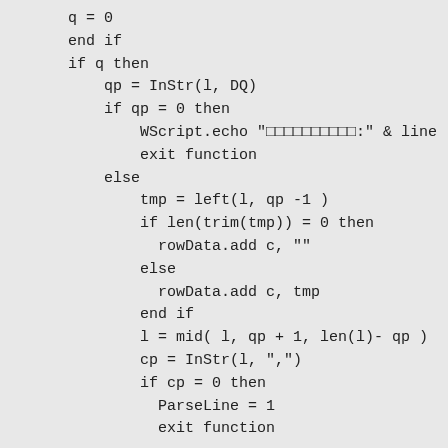q = 0
end if
if q then
    qp = InStr(l, DQ)
    if qp = 0 then
        WScript.echo "□□□□□□□□□□:" & line
        exit function
    else
        tmp = left(l, qp -1 )
        if len(trim(tmp)) = 0 then
          rowData.add c, ""
        else
          rowData.add c, tmp
        end if
        l = mid( l, qp + 1, len(l)- qp )
        cp = InStr(l, ",")
        if cp = 0 then
          ParseLine = 1
          exit function